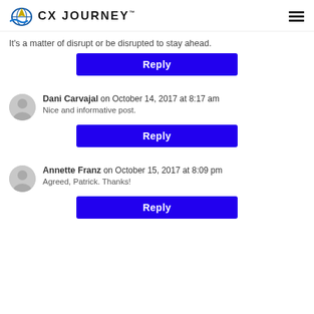CX JOURNEY
It's a matter of disrupt or be disrupted to stay ahead.
Reply
Dani Carvajal on October 14, 2017 at 8:17 am
Nice and informative post.
Reply
Annette Franz on October 15, 2017 at 8:09 pm
Agreed, Patrick. Thanks!
Reply